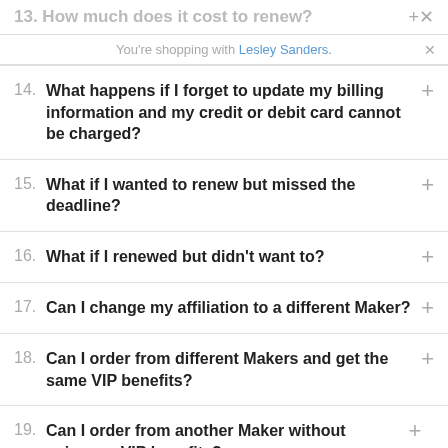13. How much does it cost to renew?
You're shopping with Lesley Sanders.
14. What happens if I forget to update my billing information and my credit or debit card cannot be charged?
15. What if I wanted to renew but missed the deadline?
16. What if I renewed but didn't want to?
17. Can I change my affiliation to a different Maker?
18. Can I order from different Makers and get the same VIP benefits?
19. Can I order from another Maker without using my VIP benefits?